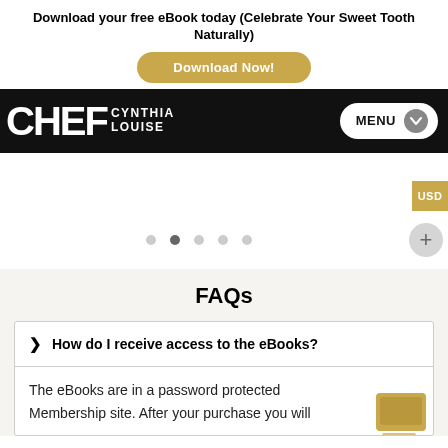Download your free eBook today (Celebrate Your Sweet Tooth Naturally)
Download Now!
[Figure (logo): Chef Cynthia Louise logo with MENU button on black navigation bar]
[Figure (screenshot): Slider carousel area with 5 dots (second active), USD tab on right, plus button]
FAQs
How do I receive access to the eBooks?
The eBooks are in a password protected Membership site. After your purchase you will